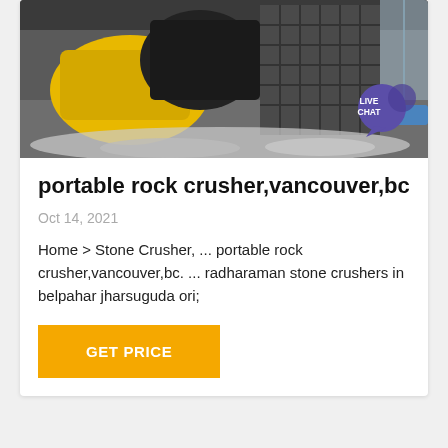[Figure (photo): Industrial rock crusher machine in a factory setting with gravel/stone aggregate on the floor. A yellow machine arm and a large dark crusher are visible. A 'LIVE CHAT' speech bubble badge appears in the upper right corner of the image.]
portable rock crusher,vancouver,bc
Oct 14, 2021
Home > Stone Crusher, ... portable rock crusher,vancouver,bc. ... radharaman stone crushers in belpahar jharsuguda ori;